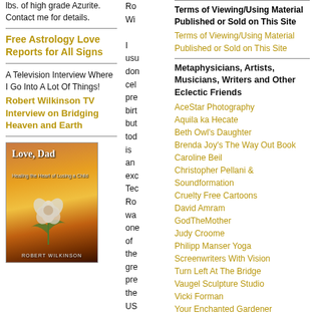lbs. of high grade Azurite. Contact me for details.
Free Astrology Love Reports for All Signs
A Television Interview Where I Go Into A Lot Of Things!
Robert Wilkinson TV Interview on Bridging Heaven and Earth
[Figure (photo): Book cover: Love, Dad - Healing the Heart of Losing a Child by Robert Wilkinson, with rose on sunset background]
I usu don cel pre birt but tod is an exc Tec Ro wa one of the gre pre the US eve ha
Terms of Viewing/Using Material Published or Sold on This Site
Terms of Viewing/Using Material Published or Sold on This Site
Metaphysicians, Artists, Musicians, Writers and Other Eclectic Friends
AceStar Photography
Aquila ka Hecate
Beth Owl's Daughter
Brenda Joy's The Way Out Book
Caroline Beil
Christopher Pellani & Soundformation
Cruelty Free Cartoons
David Amram
GodTheMother
Judy Croome
Philipp Manser Yoga
Screenwriters With Vision
Turn Left At The Bridge
Vaugel Sculpture Studio
Vicki Forman
Your Enchanted Gardener
Progressive Transcultural Groups
Imagine Peace
Network of Spiritual Progressives
Pathways to Peace